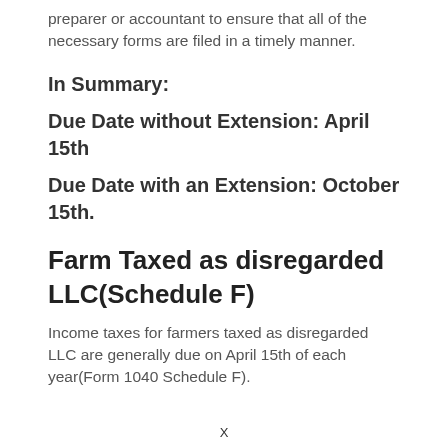preparer or accountant to ensure that all of the necessary forms are filed in a timely manner.
In Summary:
Due Date without Extension: April 15th
Due Date with an Extension: October 15th.
Farm Taxed as disregarded LLC(Schedule F)
Income taxes for farmers taxed as disregarded LLC are generally due on April 15th of each year(Form 1040 Schedule F).
X